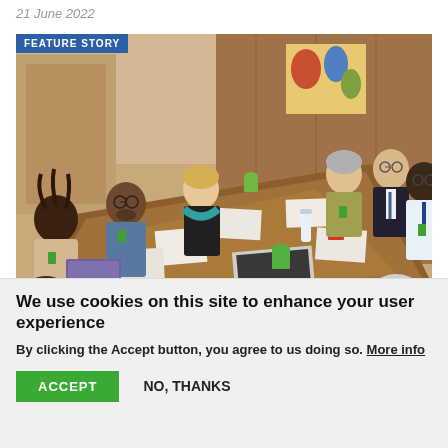21 June 2022
[Figure (photo): Group of people seated around a large wooden conference table in a meeting room. A 'FEATURE STORY' label appears in a blue banner in the top-left of the image.]
We use cookies on this site to enhance your user experience
By clicking the Accept button, you agree to us doing so. More info
ACCEPT  NO, THANKS